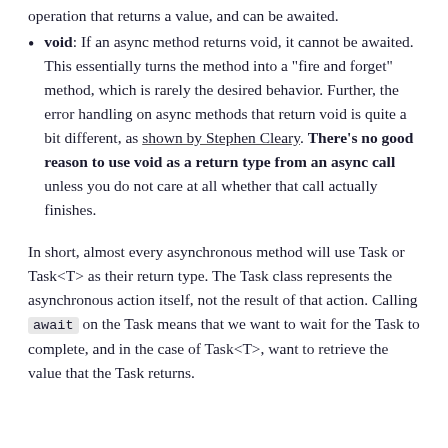operation that returns a value, and can be awaited.
void: If an async method returns void, it cannot be awaited. This essentially turns the method into a "fire and forget" method, which is rarely the desired behavior. Further, the error handling on async methods that return void is quite a bit different, as shown by Stephen Cleary. There's no good reason to use void as a return type from an async call unless you do not care at all whether that call actually finishes.
In short, almost every asynchronous method will use Task or Task<T> as their return type. The Task class represents the asynchronous action itself, not the result of that action. Calling await on the Task means that we want to wait for the Task to complete, and in the case of Task<T>, want to retrieve the value that the Task returns.